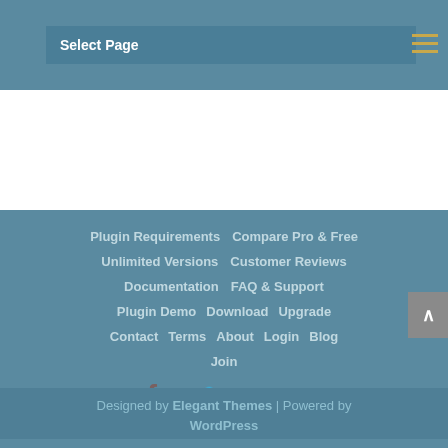Select Page
Plugin Requirements
Compare Pro & Free
Unlimited Versions
Customer Reviews
Documentation
FAQ & Support
Plugin Demo
Download
Upgrade
Contact
Terms
About
Login
Blog
Join
Designed by Elegant Themes | Powered by WordPress